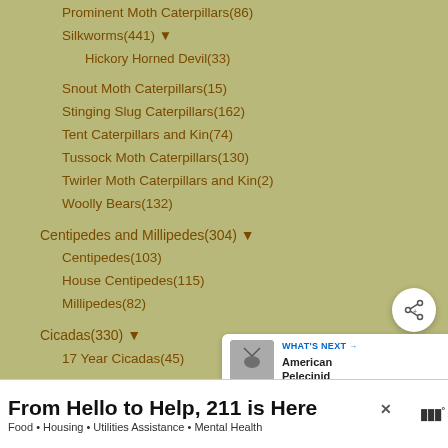Prominent Moth Caterpillars(86)
Silkworms(441) ▼
Hickory Horned Devil(33)
Snout Moth Caterpillars(15)
Stinging Slug Caterpillars(162)
Tent Caterpillars and Kin(74)
Tussock Moth Caterpillars(130)
Twirler Moth Caterpillars and Kin(2)
Woolly Bears(132)
Centipedes and Millipedes(304) ▼
Centipedes(103)
House Centipedes(115)
Millipedes(82)
Cicadas(330) ▼
17 Year Cicadas(45)
Cockroaches(190)
Coelenerates(1)
Crickets, Camel Crickets and Mole Crickets(332) ▼
WHAT'S NEXT → American Pelecinid
From Hello to Help, 211 is Here
Food • Housing • Utilities Assistance • Mental Health